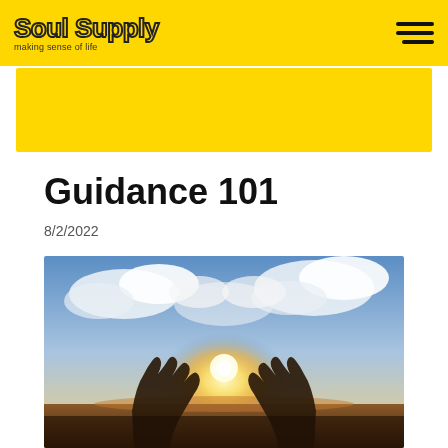Soul Supply — making sense of life
Guidance 101
8/2/2022
[Figure (photo): Two silhouetted hands reaching toward each other against a bright sun and dramatic cloudy sky, evoking guidance or connection]